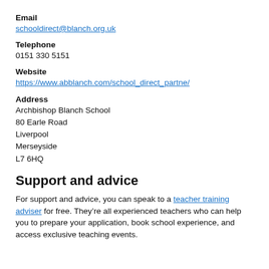Email
schooldirect@blanch.org.uk
Telephone
0151 330 5151
Website
https://www.abblanch.com/school_direct_partne/
Address
Archbishop Blanch School
80 Earle Road
Liverpool
Merseyside
L7 6HQ
Support and advice
For support and advice, you can speak to a teacher training adviser for free. They’re all experienced teachers who can help you to prepare your application, book school experience, and access exclusive teaching events.